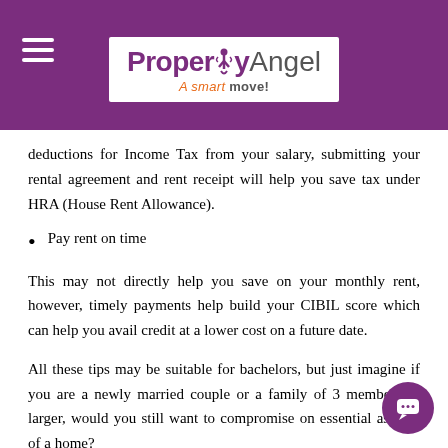PropertyAngel – A smart move!
deductions for Income Tax from your salary, submitting your rental agreement and rent receipt will help you save tax under HRA (House Rent Allowance).
Pay rent on time
This may not directly help you save on your monthly rent, however, timely payments help build your CIBIL score which can help you avail credit at a lower cost on a future date.
All these tips may be suitable for bachelors, but just imagine if you are a newly married couple or a family of 3 members or larger, would you still want to compromise on essential aspects of a home?